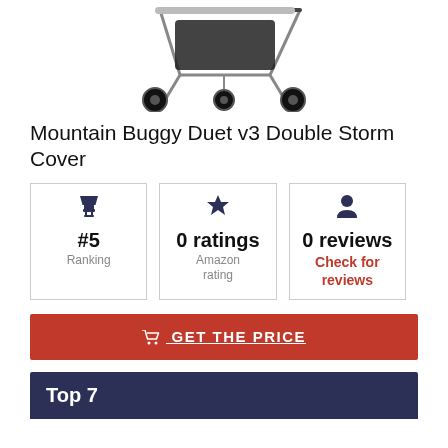[Figure (photo): Partial top view of a Mountain Buggy Duet v3 double stroller with silver frame and black wheels on a white background]
Mountain Buggy Duet v3 Double Storm Cover
| Ranking | Amazon rating | Reviews |
| --- | --- | --- |
| #5 | 0 ratings | 0 reviews
Check for reviews |
GET THE PRICE
Top 7